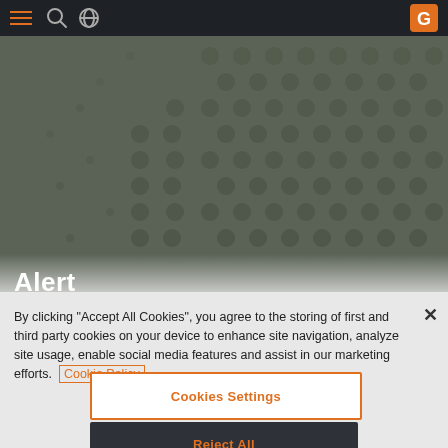Navigation bar with hamburger menu, search icon, globe icon, and G logo
[Figure (screenshot): Hero background area with dark olive/green color and hexagonal dot pattern overlay]
Alert
By clicking "Accept All Cookies", you agree to the storing of first and third party cookies on your device to enhance site navigation, analyze site usage, enable social media features and assist in our marketing efforts. Cookie Policy
Cookies Settings
Reject All